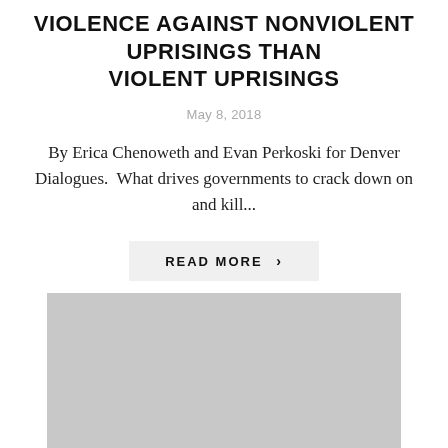VIOLENCE AGAINST NONVIOLENT UPRISINGS
May 8, 2018
By Erica Chenoweth and Evan Perkoski for Denver Dialogues. What drives governments to crack down on and kill...
READ MORE >
[Figure (other): Social media icons: Facebook, Twitter, Pinterest]
[Figure (photo): A gray placeholder image at the bottom of the page]